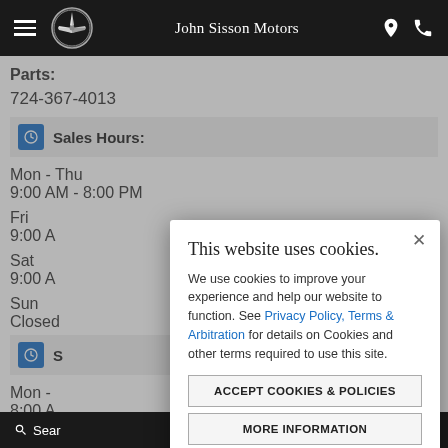John Sisson Motors
Parts:
724-367-4013
Sales Hours:
Mon - Thu
9:00 AM - 8:00 PM
Fri
9:00 A
Sat
9:00 A
Sun
Closed
S
Mon -
8:00 A
Sat
8:00 A
[Figure (screenshot): Cookie consent modal dialog over John Sisson Motors dealer website. Modal contains: title 'This website uses cookies.', body text 'We use cookies to improve your experience and help our website to function. See Privacy Policy, Terms & Arbitration for details on Cookies and other terms required to use this site.', two buttons: 'ACCEPT COOKIES & POLICIES' and 'MORE INFORMATION', and a 'Privacy Policy' link.]
Search   Contact